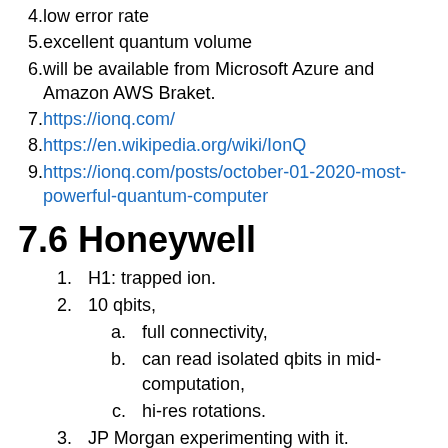4. low error rate
5. excellent quantum volume
6. will be available from Microsoft Azure and Amazon AWS Braket.
7. https://ionq.com/
8. https://en.wikipedia.org/wiki/IonQ
9. https://ionq.com/posts/october-01-2020-most-powerful-quantum-computer
7.6 Honeywell
1. H1: trapped ion.
2. 10 qbits,
a. full connectivity,
b. can read isolated qbits in mid-computation,
c. hi-res rotations.
3. JP Morgan experimenting with it.
7.6.1 Sites